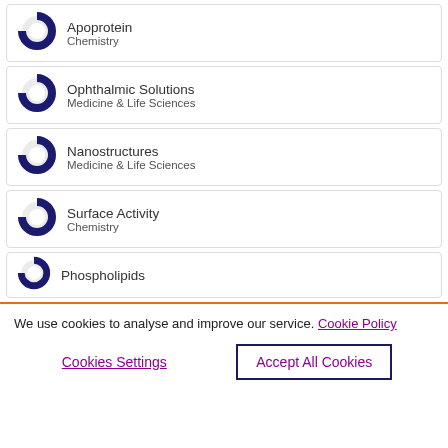Apoprotein - Chemistry
Ophthalmic Solutions - Medicine & Life Sciences
Nanostructures - Medicine & Life Sciences
Surface Activity - Chemistry
Phospholipids
We use cookies to analyse and improve our service. Cookie Policy
Cookies Settings | Accept All Cookies